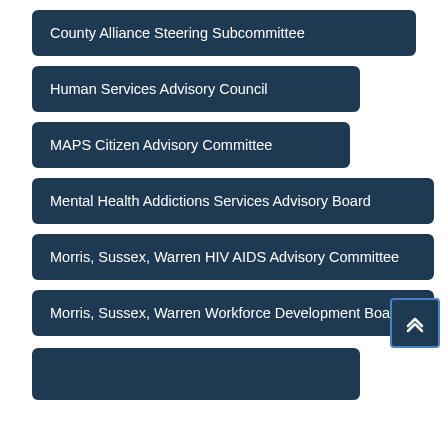County Alliance Steering Subcommittee
Human Services Advisory Council
MAPS Citizen Advisory Committee
Mental Health Addictions Services Advisory Board
Morris, Sussex, Warren HIV AIDS Advisory Committee
Morris, Sussex, Warren Workforce Development Board
Morris, Sussex, Warren Advisory Council (partial)